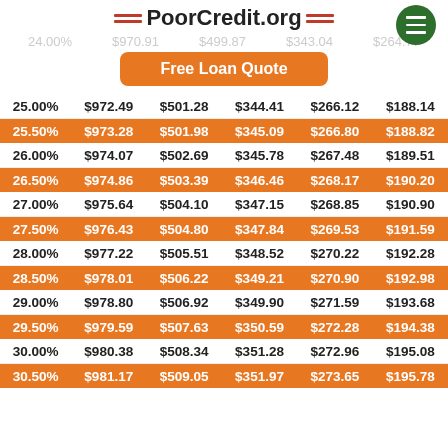PoorCredit.org
24.00% $970.91 $499.87 $343.04 $264.77 ...
Free Loan Quote
| Rate | 12 mo | 24 mo | 36 mo | 48 mo | 60 mo |
| --- | --- | --- | --- | --- | --- |
| 25.00% | $972.49 | $501.28 | $344.41 | $266.12 | $188.14 |
| 25.50% | $973.28 | $501.98 | $345.09 | $266.80 | $188.82 |
| 26.00% | $974.07 | $502.69 | $345.78 | $267.48 | $189.51 |
| 26.50% | $974.86 | $503.39 | $346.46 | $268.17 | $190.20 |
| 27.00% | $975.64 | $504.10 | $347.15 | $268.85 | $190.90 |
| 27.50% | $976.43 | $504.80 | $347.84 | $269.53 | $191.59 |
| 28.00% | $977.22 | $505.51 | $348.52 | $270.22 | $192.28 |
| 28.50% | $978.01 | $506.22 | $349.21 | $270.90 | $192.98 |
| 29.00% | $978.80 | $506.92 | $349.90 | $271.59 | $193.68 |
| 29.50% | $979.59 | $507.63 | $350.59 | $272.28 | $194.38 |
| 30.00% | $980.38 | $508.34 | $351.28 | $272.96 | $195.08 |
| 30.50% | $981.17 | $509.05 | $351.97 | $273.65 | $195.78 |